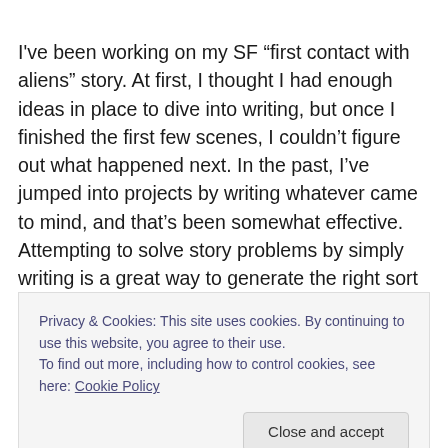I've been working on my SF “first contact with aliens” story. At first, I thought I had enough ideas in place to dive into writing, but once I finished the first few scenes, I couldn’t figure out what happened next. In the past, I’ve jumped into projects by writing whatever came to mind, and that’s been somewhat effective. Attempting to solve story problems by simply writing is a great way to generate the right sort of questions to ask. I’ve had novel drafts fizzle
Privacy & Cookies: This site uses cookies. By continuing to use this website, you agree to their use.
To find out more, including how to control cookies, see here: Cookie Policy
Close and accept
What’s really valuable is working to answer the questions.